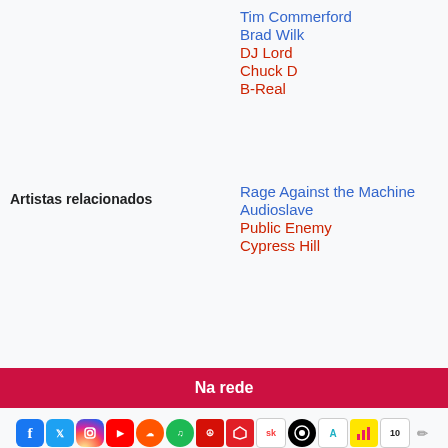Tim Commerford
Brad Wilk
DJ Lord
Chuck D
B-Real
Artistas relacionados
Rage Against the Machine
Audioslave
Public Enemy
Cypress Hill
Na rede
Web oficial ↗
[Figure (infographic): Row of social media and music service icons: Facebook, Twitter, Instagram, YouTube, SoundCloud, Spotify, Last.fm, MusicBrainz, Songkick, Discogs, Antenna, Chartmetric, Nuage, edit pencil]